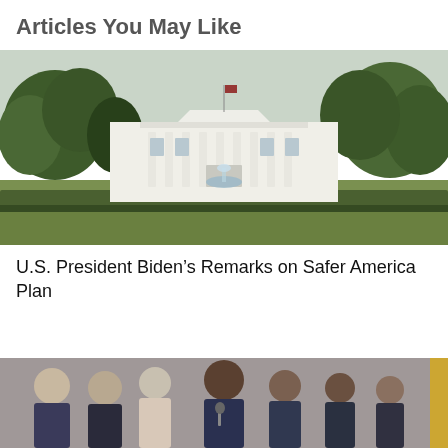Articles You May Like
[Figure (photo): Exterior photo of the White House South Lawn with fountain, trees, and flag flying overhead on an overcast day.]
U.S. President Biden’s Remarks on Safer America Plan
[Figure (photo): Group of city officials and community members standing together, partially visible at bottom of page.]